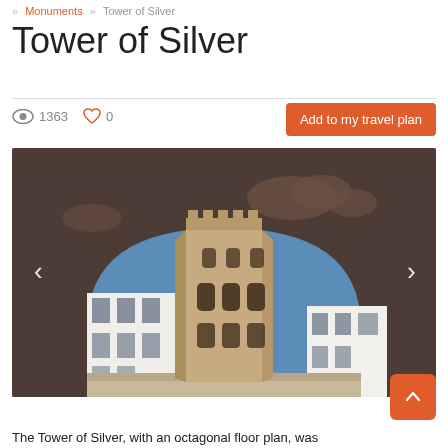» Monuments » Tower of Silver
Tower of Silver
👁 1363   ♡ 0
Add to my travel plan
[Figure (photo): Photo of the Tower of Silver (Torre de Plata), an octagonal medieval tower in Seville, viewed through an arched opening. The tower is made of stone with battlements, flanked by white modern buildings, under a blue sky.]
The Tower of Silver, with an octagonal floor plan, was